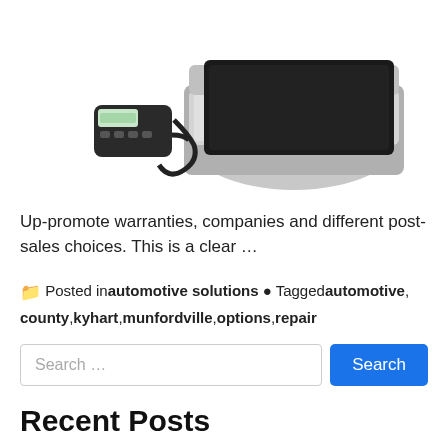[Figure (photo): Photo of automotive diagnostic/weighing equipment: a handheld device with a cord connected to a flat rectangular scale, shown with an open carrying case.]
Up-promote warranties, companies and different post-sales choices. This is a clear …
Posted in automotive solutions  Tagged automotive, county, kyhart, munfordville, options, repair
Search …
Recent Posts
Research Overseas College students
Luxury Automobiles, Crossovers SUVs
How To Pick Up Strong Auto Updates